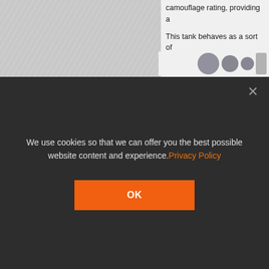camouflage rating, providing a
This tank behaves as a sort of reminiscent of mid-tier British a and US mediums. Let your fast in to support with your excellen rounds per minute, your ammo
Early Research
As a premium tank, the AC 4
Suggested Equipment
We use cookies so that we can offer you the best possible website content and experience. Privacy Policy
OK